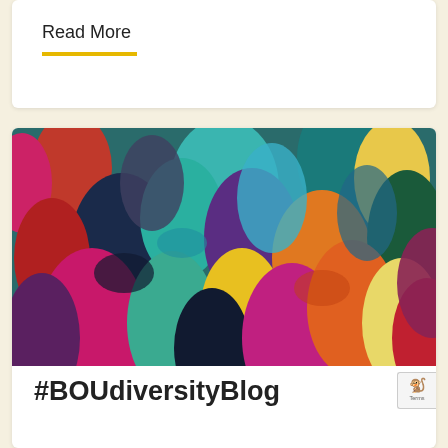Read More
[Figure (illustration): Colorful silhouettes of diverse human profiles overlapping in a crowd, rendered in teal, red, orange, yellow, purple, pink, dark navy, and magenta tones representing diversity]
#BOUdiversityBlog